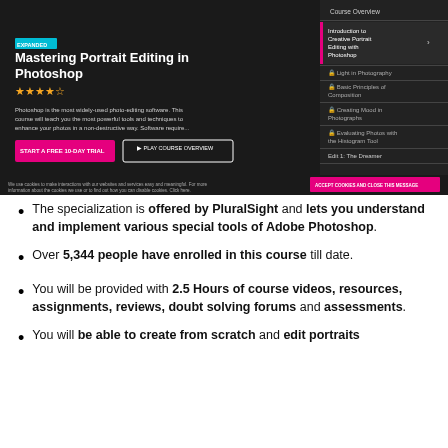[Figure (screenshot): Screenshot of a Pluralsight course page for 'Mastering Portrait Editing in Photoshop'. Shows a dark hero image with a sculpted portrait, star rating, course description text, 'START A FREE 10-DAY TRIAL' button, 'PLAY COURSE OVERVIEW' button, and a right sidebar with course navigation links including Course Overview, Introduction to Creative Portrait Editing with Photoshop (expanded), Light in Photography, Basic Principles of Composition, Creating Mood in Photographs, Evaluating Photos with the Histogram Tool, Edit 1: The Dreamer. A cookie consent bar appears at the bottom.]
The specialization is offered by PluralSight and lets you understand and implement various special tools of Adobe Photoshop.
Over 5,344 people have enrolled in this course till date.
You will be provided with 2.5 Hours of course videos, resources, assignments, reviews, doubt solving forums and assessments.
You will be able to create from scratch and edit portraits